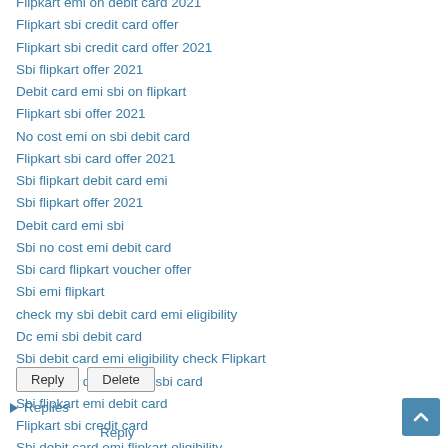Flipkart sbi credit card offer
Flipkart sbi credit card offer 2021
Sbi flipkart offer 2021
Debit card emi sbi on flipkart
Flipkart sbi offer 2021
No cost emi on sbi debit card
Flipkart sbi card offer 2021
Sbi flipkart debit card emi
Sbi flipkart offer 2021
Debit card emi sbi
Sbi no cost emi debit card
Sbi card flipkart voucher offer
Sbi emi flipkart
check my sbi debit card emi eligibility
Dc emi sbi debit card
Sbi debit card emi eligibility check Flipkart
Flipkart 10 discount on sbi card
Sbi flipkart emi debit card
Flipkart sbi credit card
Sbi debit card emi flipkart eligibility
Reply | Delete
▶ Replies
Reply